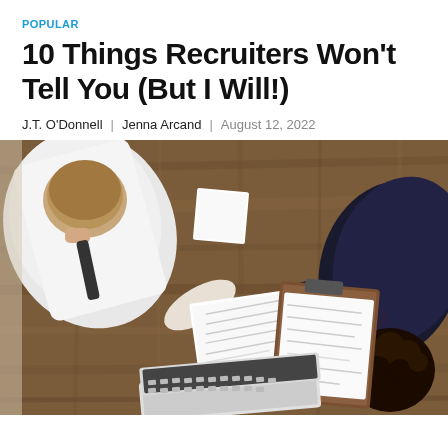POPULAR
10 Things Recruiters Won't Tell You (But I Will!)
J.T. O'Donnell | Jenna Arcand | August 12, 2022
[Figure (photo): Overhead/top-down view of two people sitting at a wooden table reviewing documents. One person in a white shirt is pointing at papers on the left; another person with curly hair in a dark outfit is holding a pen over a clipboard on the right. A laptop is partially visible at the bottom.]